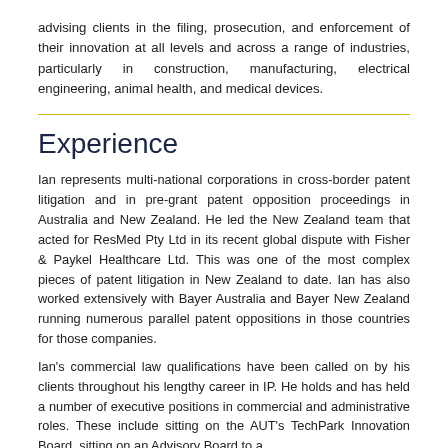advising clients in the filing, prosecution, and enforcement of their innovation at all levels and across a range of industries, particularly in construction, manufacturing, electrical engineering, animal health, and medical devices.
Experience
Ian represents multi-national corporations in cross-border patent litigation and in pre-grant patent opposition proceedings in Australia and New Zealand. He led the New Zealand team that acted for ResMed Pty Ltd in its recent global dispute with Fisher & Paykel Healthcare Ltd. This was one of the most complex pieces of patent litigation in New Zealand to date. Ian has also worked extensively with Bayer Australia and Bayer New Zealand running numerous parallel patent oppositions in those countries for those companies.
Ian's commercial law qualifications have been called on by his clients throughout his lengthy career in IP. He holds and has held a number of executive positions in commercial and administrative roles. These include sitting on the AUT's TechPark Innovation Board, sitting on an Advisory Board to a